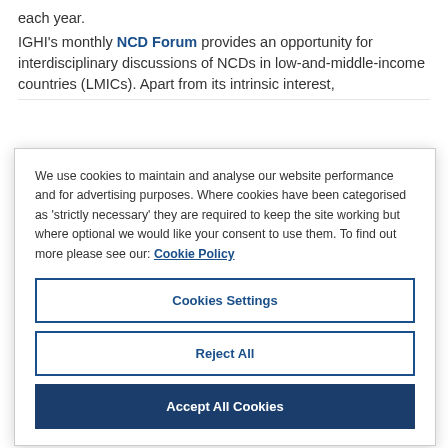each year.
IGHI's monthly NCD Forum provides an opportunity for interdisciplinary discussions of NCDs in low-and-middle-income countries (LMICs). Apart from its intrinsic interest,
We use cookies to maintain and analyse our website performance and for advertising purposes. Where cookies have been categorised as 'strictly necessary' they are required to keep the site working but where optional we would like your consent to use them. To find out more please see our: Cookie Policy
Cookies Settings
Reject All
Accept All Cookies